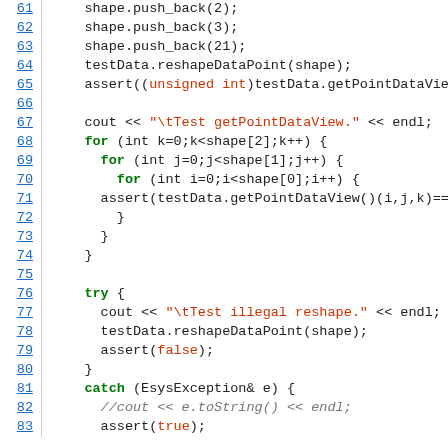[Figure (screenshot): Source code snippet in C++ showing lines 61-83 of a test file. Lines include push_back calls, reshapeDataPoint, assert statements, nested for loops, try/catch block, and comments. Line numbers are hyperlinked in blue on the left margin.]